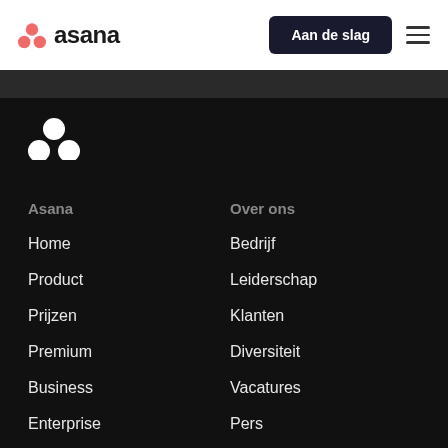Asana — Aan de slag
Asana
Home
Product
Prijzen
Premium
Business
Enterprise
Over ons
Bedrijf
Leiderschap
Klanten
Diversiteit
Vacatures
Pers